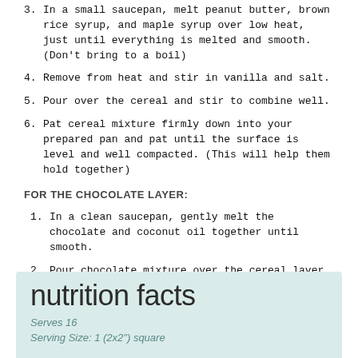3. In a small saucepan, melt peanut butter, brown rice syrup, and maple syrup over low heat, just until everything is melted and smooth. (Don't bring to a boil)
4. Remove from heat and stir in vanilla and salt.
5. Pour over the cereal and stir to combine well.
6. Pat cereal mixture firmly down into your prepared pan and pat until the surface is level and well compacted. (This will help them hold together)
FOR THE CHOCOLATE LAYER:
1. In a clean saucepan, gently melt the chocolate and coconut oil together until smooth.
2. Pour chocolate mixture over the cereal layer and smooth out.
3. Garnish with coarse sea salt or sprinkles as desired.
4. Chill to set the bars at least 1 hour (better if you wait 2-3) before slicing.
nutrition facts
Serves 16
Serving Size: 1 (2x2") square